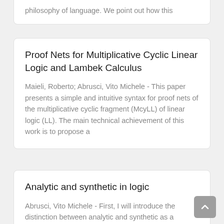philosophy of language. We point out how this
Proof Nets for Multiplicative Cyclic Linear Logic and Lambek Calculus
Maieli, Roberto; Abrusci, Vito Michele - This paper presents a simple and intuitive syntax for proof nets of the multiplicative cyclic fragment (McyLL) of linear logic (LL). The main technical achievement of this work is to propose a
Analytic and synthetic in logic
Abrusci, Vito Michele - First, I will introduce the distinction between analytic and synthetic as a partition of propositions, proofs, programs and